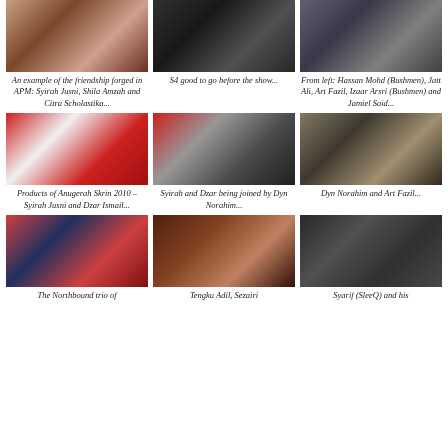[Figure (photo): Group photo of Syirah Jusni, Shila Amzah and Citra Scholastika]
[Figure (photo): S4 group photo before the show]
[Figure (photo): Hassan Mohd (Bushmen), Jatt Ali, Art Fazil, Izaar Arsri (Bushmen) and Jamiel Said group photo]
An example of the friendship forged in APM: Syirah Jusni, Shila Amzah and Citra Scholastika...
S4 good to go before the show...
From left: Hassan Mohd (Bushmen), Jatt Ali, Art Fazil, Izaar Arsri (Bushmen) and Jamiel Said...
[Figure (photo): Syirah Jusni and Dzar Ismail at Anugerah Skrin 2010]
[Figure (photo): Syirah and Dzar being joined by Dyn Norahim]
[Figure (photo): Dyn Norahim and Art Fazil together]
Products of Anugerah Skrin 2010 – Syirah Jusni and Dzar Ismail...
Syirah and Dzar being joined by Dyn Norahim...
Dyn Norahim and Art Fazil...
[Figure (photo): The Northbound trio in formal attire]
[Figure (photo): Tengku Adil, Sezairi and others]
[Figure (photo): Syarif (SleeQ) and his companion]
The Northbound trio of
Tengku Adil, Sezairi
Syarif (SleeQ) and his